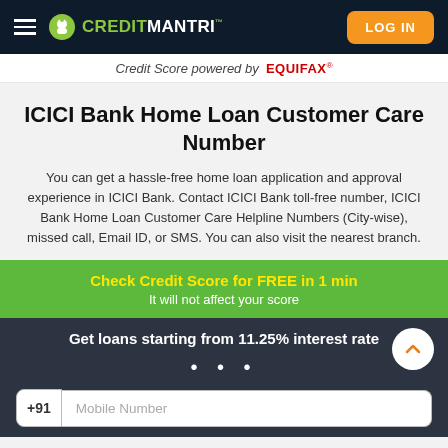CreditMantri — LOG IN
Credit Score powered by EQUIFAX®
ICICI Bank Home Loan Customer Care Number
You can get a hassle-free home loan application and approval experience in ICICI Bank. Contact ICICI Bank toll-free number, ICICI Bank Home Loan Customer Care Helpline Numbers (City-wise), missed call, Email ID, or SMS. You can also visit the nearest branch.
Check Credit Score for FREE in 1 min
It will not affect your score
Get loans starting from 11.25% interest rate
Mobile Number